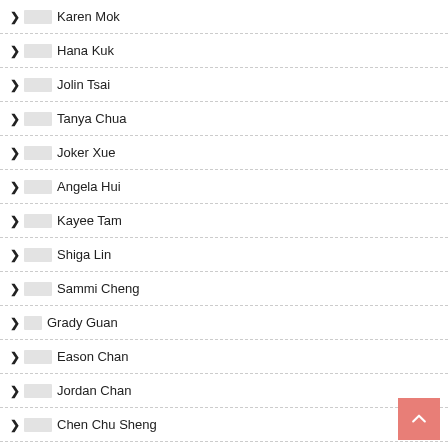Karen Mok
Hana Kuk
Jolin Tsai
Tanya Chua
Joker Xue
Angela Hui
Kayee Tam
Shiga Lin
Sammi Cheng
Grady Guan
Eason Chan
Jordan Chan
Chen Chu Sheng
Cheer Chen